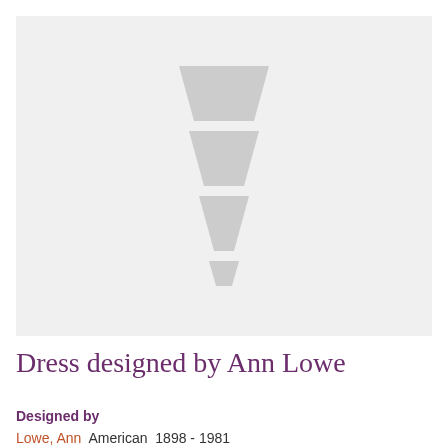[Figure (photo): Placeholder image with a grey background and a stacked trapezoid/dress silhouette icon in lighter grey, representing a dress designed by Ann Lowe.]
Dress designed by Ann Lowe
Designed by
Lowe, Ann  American  1898 - 1981